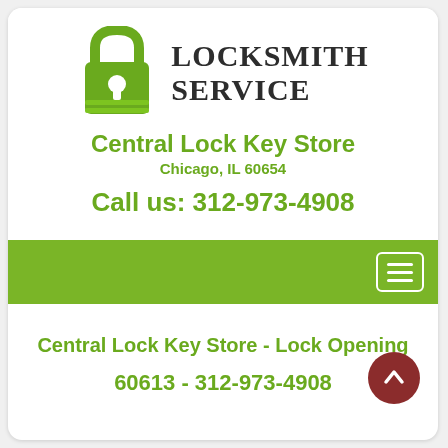[Figure (logo): Green padlock icon with keyhole and horizontal lines at the bottom, representing a locksmith service logo]
LOCKSMITH SERVICE
Central Lock Key Store
Chicago, IL 60654
Call us: 312-973-4908
[Figure (other): Green navigation bar with hamburger menu button (three lines) in a white-bordered rectangle on the right side]
Central Lock Key Store - Lock Opening
60613 - 312-973-4908